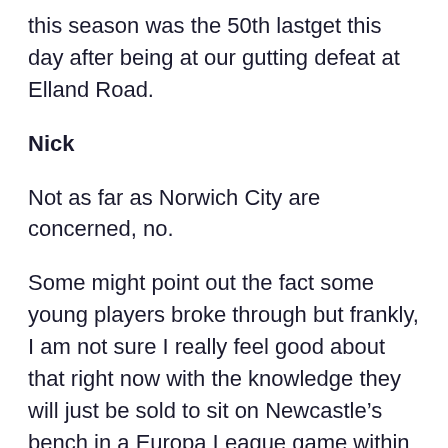this season was the 50th lastget this day after being at our gutting defeat at Elland Road.
Nick
Not as far as Norwich City are concerned, no.
Some might point out the fact some young players broke through but frankly, I am not sure I really feel good about that right now with the knowledge they will just be sold to sit on Newcastle’s bench in a Europa League game within the next two seasons.
While that’s more of a Big Football problem than a Norwich City one, we can’t keep this system if